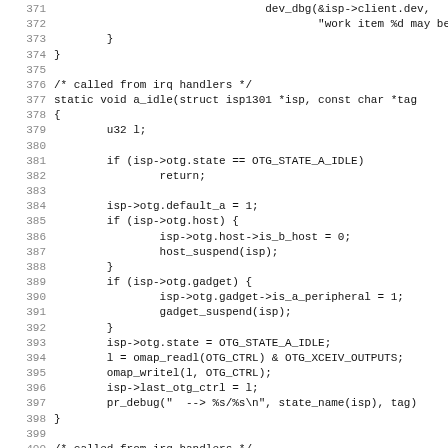Source code listing, lines 371-403, C language, isp1301 OTG driver functions a_idle and b_idle
[Figure (screenshot): C source code listing showing lines 371-403 of a Linux kernel OTG driver. Includes closing braces of a prior function, then a_idle() static void function receiving isp1301 struct pointer and tag string, and beginning of b_idle() function.]